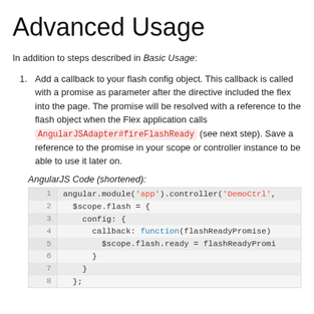Advanced Usage
In addition to steps described in Basic Usage:
Add a callback to your flash config object. This callback is called with a promise as parameter after the directive included the flex into the page. The promise will be resolved with a reference to the flash object when the Flex application calls AngularJSAdapter#fireFlashReady (see next step). Save a reference to the promise in your scope or controller instance to be able to use it later on.
AngularJS Code (shortened):
[Figure (screenshot): Code block showing AngularJS code with line numbers 1-8. Line 1: angular.module('app').controller('DemoCtrl', Line 2: $scope.flash = { Line 3: config: { Line 4: callback: function(flashReadyPromise) Line 5: $scope.flash.ready = flashReadyPromi Line 6: } Line 7: } Line 8: };]